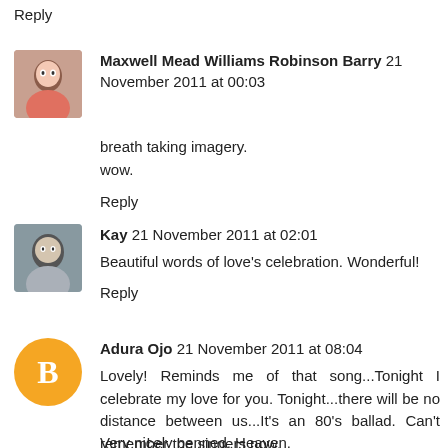Reply
Maxwell Mead Williams Robinson Barry 21 November 2011 at 00:03
breath taking imagery.
wow.
Reply
Kay 21 November 2011 at 02:01
Beautiful words of love's celebration. Wonderful!
Reply
Adura Ojo 21 November 2011 at 08:04
Lovely! Reminds me of that song...Tonight I celebrate my love for you. Tonight...there will be no distance between us...It's an 80's ballad. Can't remember the singers now.
Very nicely penned, Heaven.